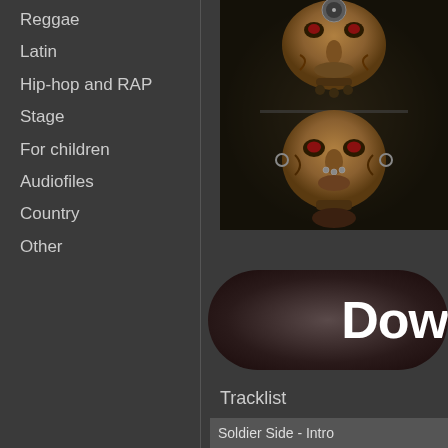Reggae
Latin
Hip-hop and RAP
Stage
For children
Audiofiles
Country
Other
[Figure (photo): Album art showing a stylized alien/humanoid figure face reflected, in dark tones with metallic ornamental elements]
[Figure (other): Download button - dark oval/pill shaped button with white bold text 'Dow' (partially visible)]
Tracklist
Soldier Side - Intro